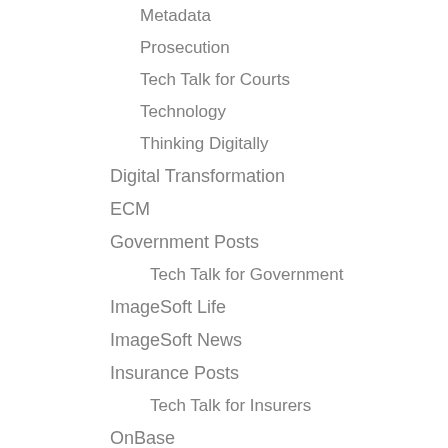Metadata
Prosecution
Tech Talk for Courts
Technology
Thinking Digitally
Digital Transformation
ECM
Government Posts
Tech Talk for Government
ImageSoft Life
ImageSoft News
Insurance Posts
Tech Talk for Insurers
OnBase
Robotic Process Automation